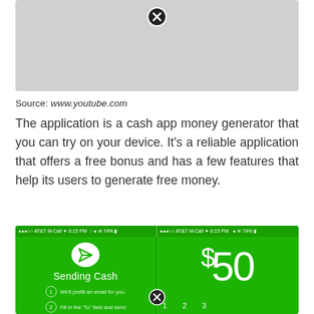[Figure (screenshot): Gray placeholder image with a close (X) button at the top center]
Source: www.youtube.com
The application is a cash app money generator that you can try on your device. It’s a reliable application that offers a free bonus and has a few features that help its users to generate free money.
[Figure (screenshot): Two side-by-side screenshots of a Cash App interface on green background. Left panel shows 'Sending Cash' with paper airplane icon and two numbered steps. Right panel shows '$50' in large text and number keys 1, 2, 3. AT&T M-Call status bar at top showing 6:15 PM and 74% battery.]